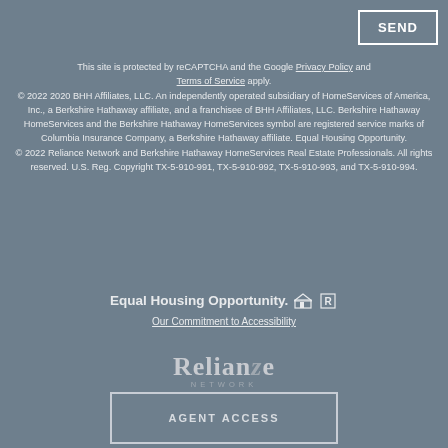SEND
This site is protected by reCAPTCHA and the Google Privacy Policy and Terms of Service apply. © 2022 2020 BHH Affiliates, LLC. An independently operated subsidiary of HomeServices of America, Inc., a Berkshire Hathaway affiliate, and a franchisee of BHH Affiliates, LLC. Berkshire Hathaway HomeServices and the Berkshire Hathaway HomeServices symbol are registered service marks of Columbia Insurance Company, a Berkshire Hathaway affiliate. Equal Housing Opportunity. © 2022 Reliance Network and Berkshire Hathaway HomeServices Real Estate Professionals. All rights reserved. U.S. Reg. Copyright TX-5-910-991, TX-5-910-992, TX-5-910-993, and TX-5-910-994.
Equal Housing Opportunity. 🏠 R
Our Commitment to Accessibility
[Figure (logo): Reliance Network logo in white/light gray]
AGENT ACCESS